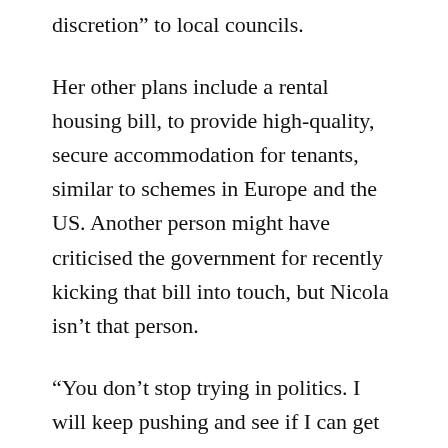discretion” to local councils.
Her other plans include a rental housing bill, to provide high-quality, secure accommodation for tenants, similar to schemes in Europe and the US. Another person might have criticised the government for recently kicking that bill into touch, but Nicola isn’t that person.
“You don’t stop trying in politics. I will keep pushing and see if I can get it in a member’s bill and make it part of National policy going into the next election. Because having a stable roof over our heads is a fundamental human right